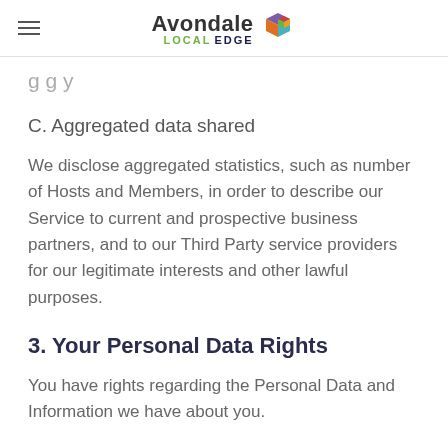Avondale LOCAL EDGE
g g y
C. Aggregated data shared
We disclose aggregated statistics, such as number of Hosts and Members, in order to describe our Service to current and prospective business partners, and to our Third Party service providers for our legitimate interests and other lawful purposes.
3. Your Personal Data Rights
You have rights regarding the Personal Data and Information we have about you.